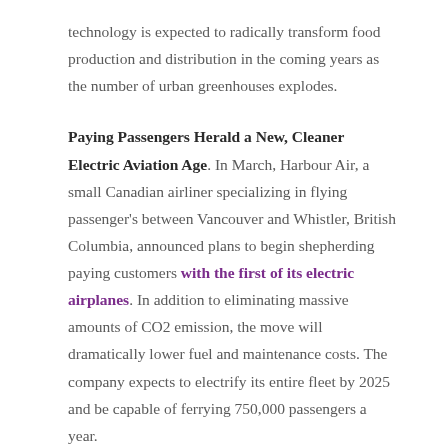technology is expected to radically transform food production and distribution in the coming years as the number of urban greenhouses explodes.
Paying Passengers Herald a New, Cleaner Electric Aviation Age. In March, Harbour Air, a small Canadian airliner specializing in flying passenger's between Vancouver and Whistler, British Columbia, announced plans to begin shepherding paying customers with the first of its electric airplanes. In addition to eliminating massive amounts of CO2 emission, the move will dramatically lower fuel and maintenance costs. The company expects to electrify its entire fleet by 2025 and be capable of ferrying 750,000 passengers a year.